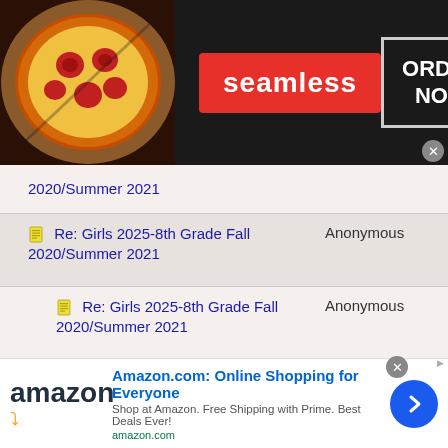[Figure (screenshot): Seamless food delivery advertisement banner with pizza image, red Seamless button, and ORDER NOW button on dark background]
| Topic | Author |
| --- | --- |
| Re: Girls 2025-8th Grade Fall 2020/Summer 2021 | Anonymous |
| Re: Girls 2025-8th Grade Fall 2020/Summer 2021 | Anonymous |
| Re: Girls 2025-8th Grade Fall 2020/Summer 2021 | Anonymous |
| Re: Girls 2025-8th Grade Fall 2020/Summer 2021 | Anonymous |
| Re: Girls 2025-8th Grade Fall 2020/Summer 2021 | Anonymous |
| Re: Girls 2025-8th Grade Fall 2020/Summer 2021 | Anonymous |
[Figure (screenshot): Amazon.com advertisement banner with logo, text 'Online Shopping for Everyone', and blue arrow button]